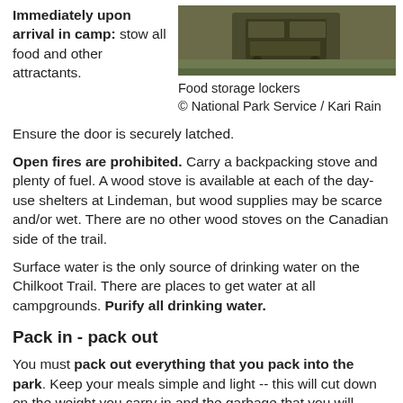Immediately upon arrival in camp: stow all food and other attractants.
[Figure (photo): Photo of food storage lockers, green/olive colored metal bear box containers on ground outdoors.]
Food storage lockers
© National Park Service / Kari Rain
Ensure the door is securely latched.
Open fires are prohibited. Carry a backpacking stove and plenty of fuel. A wood stove is available at each of the day-use shelters at Lindeman, but wood supplies may be scarce and/or wet. There are no other wood stoves on the Canadian side of the trail.
Surface water is the only source of drinking water on the Chilkoot Trail. There are places to get water at all campgrounds. Purify all drinking water.
Pack in - pack out
You must pack out everything that you pack into the park. Keep your meals simple and light -- this will cut down on the weight you carry in and the garbage that you will